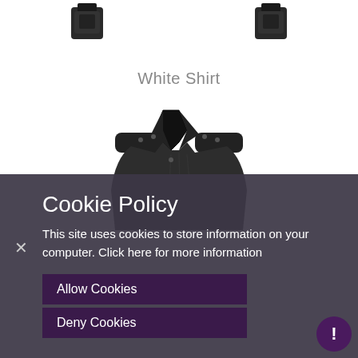[Figure (photo): Two small dark folded product (shirt/clothing) thumbnail images shown at top of page, side by side]
White Shirt
[Figure (illustration): Illustration of a dark shirt/jacket from the collar/shoulders down, partially visible]
× (close button)
Cookie Policy
This site uses cookies to store information on your computer. Click here for more information
Allow Cookies
Deny Cookies